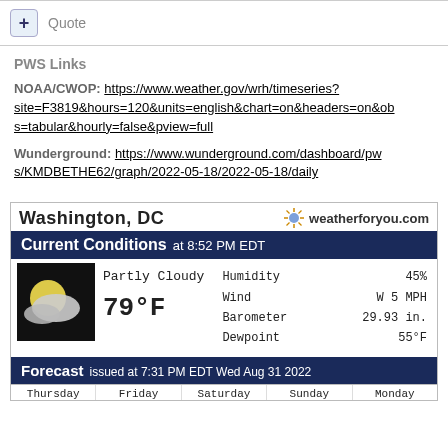+ Quote
PWS Links
NOAA/CWOP: https://www.weather.gov/wrh/timeseries?site=F3819&hours=120&units=english&chart=on&headers=on&obs=tabular&hourly=false&pview=full
Wunderground: https://www.wunderground.com/dashboard/pws/KMDBETHE62/graph/2022-05-18/2022-05-18/daily
[Figure (infographic): Weather widget showing Washington DC current conditions: Partly Cloudy, 79°F, Humidity 45%, Wind W 5 MPH, Barometer 29.93 in., Dewpoint 55°F. Forecast issued at 7:31 PM EDT Wed Aug 31 2022. Days shown: Thursday, Friday, Saturday, Sunday, Monday.]